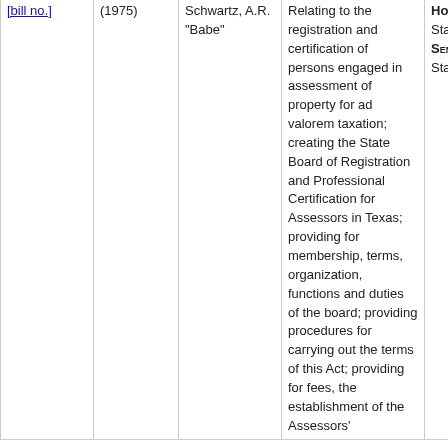| [bill number] | (1975) | Schwartz, A.R. "Babe" | Relating to the registration and certification of persons engaged in assessment of property for ad valorem taxation; creating the State Board of Registration and Professional Certification for Assessors in Texas; providing for membership, terms, organization, functions and duties of the board; providing procedures for carrying out the terms of this Act; providing for fees, the establishment of the Assessors' | House: State Affairs
Senate: State Affairs |